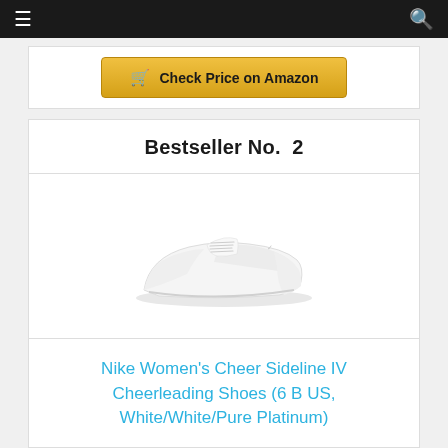Navigation bar with hamburger menu and search icon
[Figure (other): Check Price on Amazon button (top, partial card)]
Bestseller No. 2
[Figure (photo): Nike Women's Cheer Sideline IV white cheerleading shoe, side view on white background]
Nike Women's Cheer Sideline IV Cheerleading Shoes (6 B US, White/White/Pure Platinum)
[Figure (other): Check Price on Amazon button (bottom)]